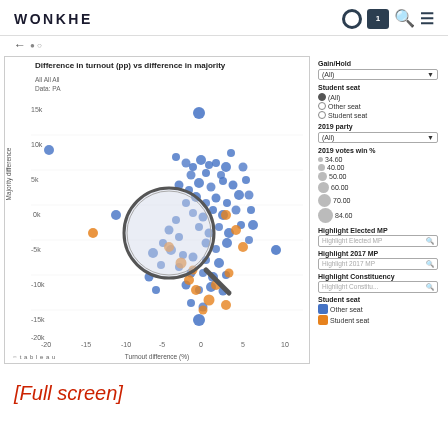WONKHE
[Figure (scatter-plot): Scatter plot showing turnout difference (%) on x-axis vs majority difference on y-axis. Blue dots = Other seat, Orange dots = Student seat. X-axis ranges from -20 to 10, Y-axis from -20k to 15k. Large magnifier overlay in center. Sidebar controls for Gain/Hold, Student seat, 2019 party, 2019 votes win %, highlight fields, and color legend.]
[Full screen]